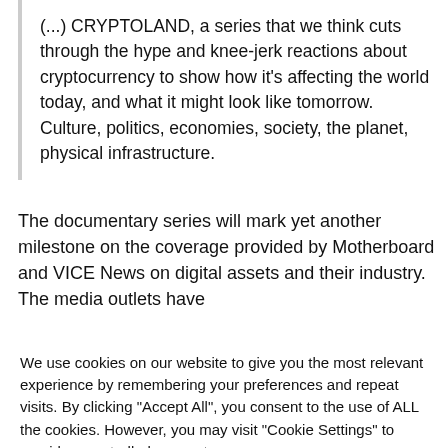(...) CRYPTOLAND, a series that we think cuts through the hype and knee-jerk reactions about cryptocurrency to show how it's affecting the world today, and what it might look like tomorrow. Culture, politics, economies, society, the planet, physical infrastructure.
The documentary series will mark yet another milestone on the coverage provided by Motherboard and VICE News on digital assets and their industry. The media outlets have
We use cookies on our website to give you the most relevant experience by remembering your preferences and repeat visits. By clicking “Accept All”, you consent to the use of ALL the cookies. However, you may visit "Cookie Settings" to provide a controlled consent.
Cookie Settings | Accept All